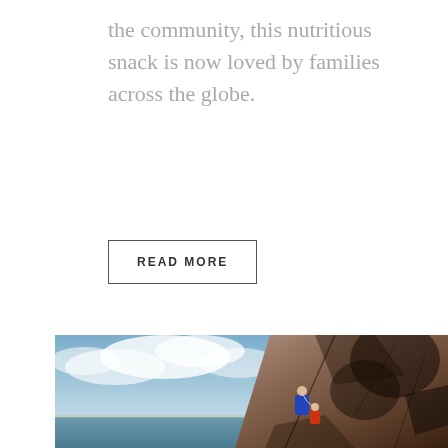the community, this nutritious snack is now loved by families across the globe.
READ MORE
[Figure (photo): Outdoor rock climbing scene showing a dramatic cliff face on the right side with dark rock formations, and a blue sky with clouds and ocean visible on the left. Two climbers in blue and red gear are visible on the cliff face.]